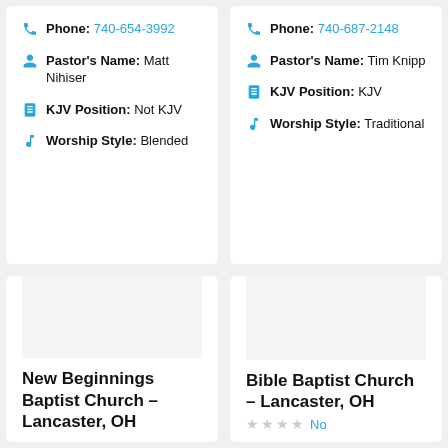Phone: 740-654-3992
Pastor's Name: Matt Nihiser
KJV Position: Not KJV
Worship Style: Blended
Phone: 740-687-2148
Pastor's Name: Tim Knipp
KJV Position: KJV
Worship Style: Traditional
New Beginnings Baptist Church – Lancaster, OH
Bible Baptist Church – Lancaster, OH